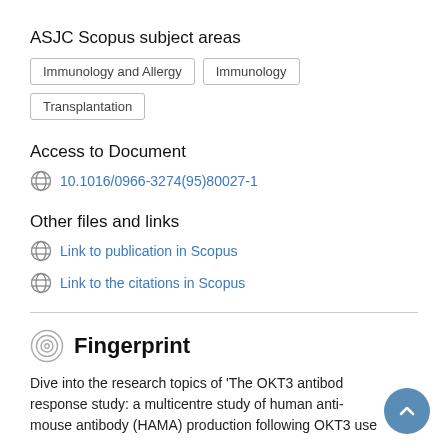ASJC Scopus subject areas
Immunology and Allergy   Immunology   Transplantation
Access to Document
🌐 10.1016/0966-3274(95)80027-1
Other files and links
🌐 Link to publication in Scopus
🌐 Link to the citations in Scopus
Fingerprint
Dive into the research topics of 'The OKT3 antibody response study: a multicentre study of human anti-mouse antibody (HAMA) production following OKT3 use